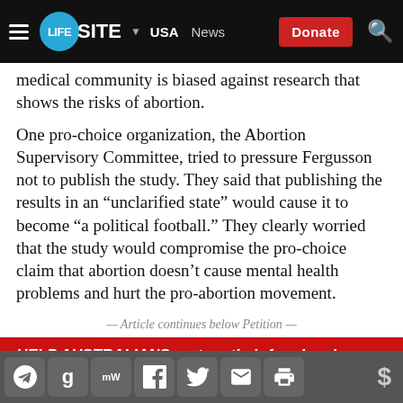LIFESITE | USA | News | Donate
medical community is biased against research that shows the risks of abortion.
One pro-choice organization, the Abortion Supervisory Committee, tried to pressure Fergusson not to publish the study. They said that publishing the results in an “unclarified state” would cause it to become “a political football.” They clearly worried that the study would compromise the pro-choice claim that abortion doesn’t cause mental health problems and hurt the pro-abortion movement.
— Article continues below Petition —
HELP AUSTRALIANS restore their freedom by
Social share icons: Telegram, Gettr, MeWe, Facebook, Twitter, Email, Print | Donate